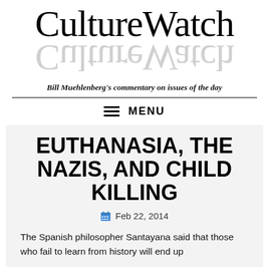CultureWatch
Bill Muehlenberg's commentary on issues of the day
EUTHANASIA, THE NAZIS, AND CHILD KILLING
Feb 22, 2014
The Spanish philosopher Santayana said that those who fail to learn from history will end up